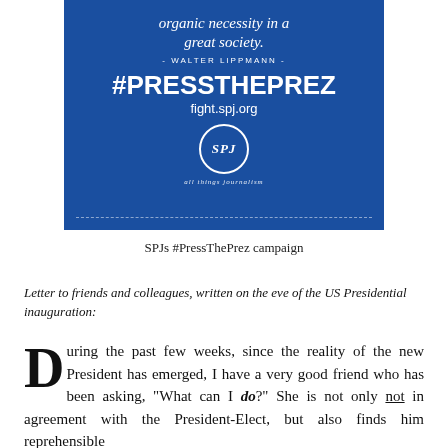[Figure (illustration): SPJ #PressThePrez campaign graphic — dark blue box with quote text, '#PRESSTHEPREZ' hashtag, 'fight.spj.org' URL, SPJ logo circle, and tagline 'all things journalism']
SPJs #PressThePrez campaign
Letter to friends and colleagues, written on the eve of the US Presidential inauguration:
During the past few weeks, since the reality of the new President has emerged, I have a very good friend who has been asking, "What can I do?" She is not only not in agreement with the President-Elect, but also finds him reprehensible